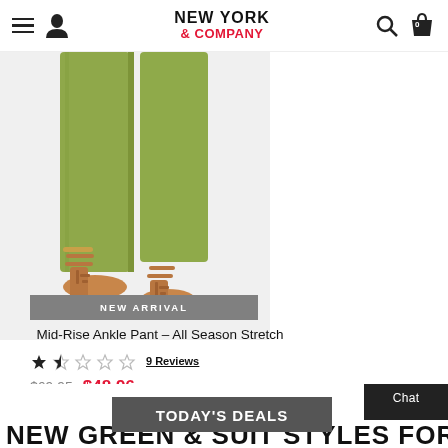NEW YORK & COMPANY
[Figure (photo): Lower half of a woman wearing olive green ankle pants and brown strappy heeled sandals]
NEW ARRIVAL
Mid-Rise Ankle Pant - All Season Stretch
9 Reviews
$69.95  $48.96
30% Off
See All Colors
TODAY'S DEALS
NEW GREEN & SUIT STYLES FOR